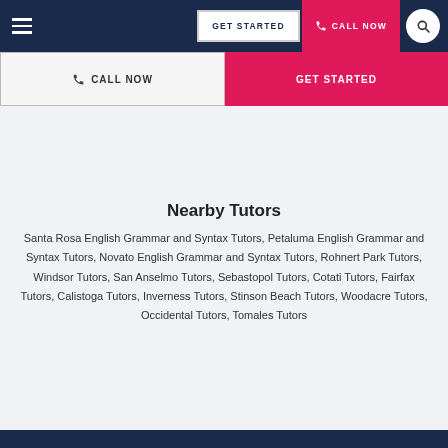GET STARTED | CALL NOW
[Figure (screenshot): Navigation bar with hamburger menu, GET STARTED button, CALL NOW button with phone icon, and search circle icon on dark navy background]
[Figure (screenshot): Secondary button row with CALL NOW (light background, dark text) and GET STARTED (pink/magenta background, white text)]
Nearby Tutors
Santa Rosa English Grammar and Syntax Tutors, Petaluma English Grammar and Syntax Tutors, Novato English Grammar and Syntax Tutors, Rohnert Park Tutors, Windsor Tutors, San Anselmo Tutors, Sebastopol Tutors, Cotati Tutors, Fairfax Tutors, Calistoga Tutors, Inverness Tutors, Stinson Beach Tutors, Woodacre Tutors, Occidental Tutors, Tomales Tutors